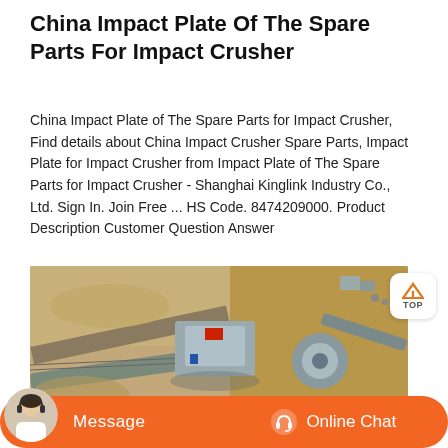China Impact Plate Of The Spare Parts For Impact Crusher
China Impact Plate of The Spare Parts for Impact Crusher, Find details about China Impact Crusher Spare Parts, Impact Plate for Impact Crusher from Impact Plate of The Spare Parts for Impact Crusher - Shanghai Kinglink Industry Co., Ltd. Sign In. Join Free ... HS Code. 8474209000. Product Description Customer Question Answer
[Figure (photo): Aerial view of an industrial crusher/quarry installation with conveyor belts, machinery, and earthworks visible from above.]
[Figure (other): Chat bar with Message button and Online Chat button, plus customer service avatar.]